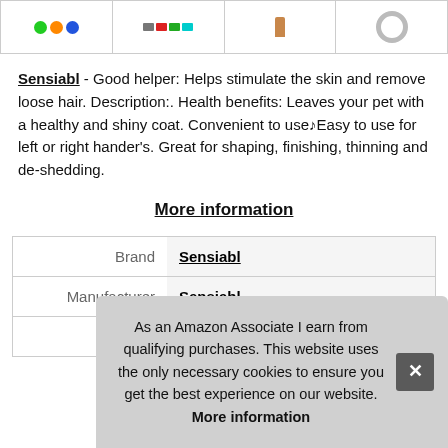[Figure (photo): Row of four product thumbnail images: colored circles/icons, erasers/shapes, a bottle, and a bracelet/ring]
Sensiabl - Good helper: Helps stimulate the skin and remove loose hair. Description:. Health benefits: Leaves your pet with a healthy and shiny coat. Convenient to use♥Easy to use for left or right hander's. Great for shaping, finishing, thinning and de-shedding.
More information
|  |  |
| --- | --- |
| Brand | Sensiabl |
| Manufacturer | Sensiabl |
| P |  |
As an Amazon Associate I earn from qualifying purchases. This website uses the only necessary cookies to ensure you get the best experience on our website. More information